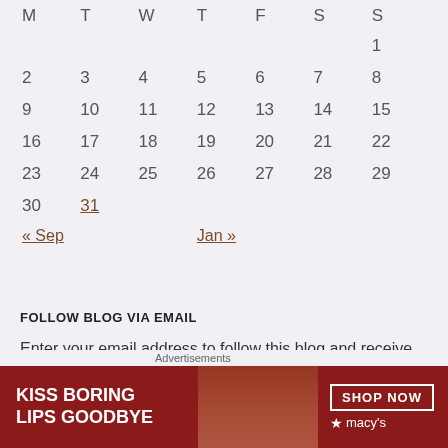| M | T | W | T | F | S | S |
| --- | --- | --- | --- | --- | --- | --- |
|  |  |  |  |  |  | 1 |
| 2 | 3 | 4 | 5 | 6 | 7 | 8 |
| 9 | 10 | 11 | 12 | 13 | 14 | 15 |
| 16 | 17 | 18 | 19 | 20 | 21 | 22 |
| 23 | 24 | 25 | 26 | 27 | 28 | 29 |
| 30 | 31 |  |  |  |  |  |
| « Sep |  |  |  |  |  | Jan » |
FOLLOW BLOG VIA EMAIL
Enter your email address to follow this blog and receive notifications of new posts by email.
Enter your email address
[Figure (other): Macy's advertisement banner: KISS BORING LIPS GOODBYE with SHOP NOW button and Macy's star logo]